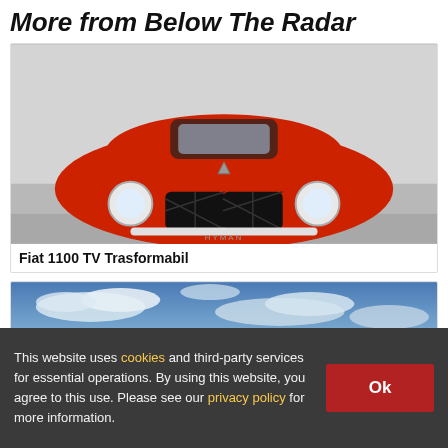More from Below The Radar
[Figure (photo): Front view of a red Fiat 1100 TV Trasformabil classic convertible car in a showroom, with HYMAN logo watermark]
Fiat 1100 TV Trasformabil
[Figure (photo): Partial view of a sky with clouds, blue tones]
This website uses cookies and third-party services for essential operations. By using this website, you agree to this use. Please see our privacy policy for more information.